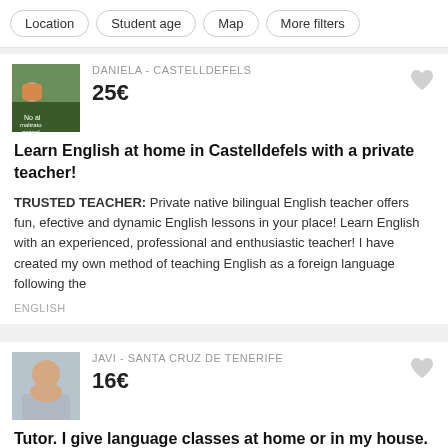Location | Student age | Map | More filters
DANIELA - CASTELLDEFELS
25€
Learn English at home in Castelldefels with a private teacher!
TRUSTED TEACHER: Private native bilingual English teacher offers fun, efective and dynamic English lessons in your place! Learn English with an experienced, professional and enthusiastic teacher! I have created my own method of teaching English as a foreign language following the
ENGLISH
JAVI - SANTA CRUZ DE TENERIFE
16€
Tutor. I give language classes at home or in my house.
TRUSTED TEACHER: I offer private classes at my home or at the client's